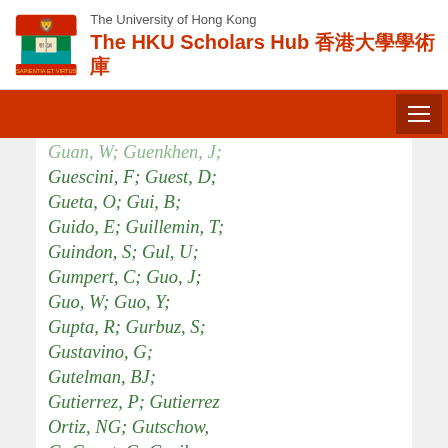The University of Hong Kong — The HKU Scholars Hub 香港大學學術庫
Guan, W; Guenkhen, J; Guescini, F; Guest, D; Gueta, O; Gui, B; Guido, E; Guillemin, T; Guindon, S; Gul, U; Gumpert, C; Guo, J; Guo, W; Guo, Y; Gupta, R; Gurbuz, S; Gustavino, G; Gutelman, BJ; Gutierrez, P; Gutierrez Ortiz, NG; Gutschow, C; Guyot, C; Guzik, MP; Gwenlan, C; Gwilliam, CB; Haas, A; Haber, C; Hadavand, HK; Haddad, N; Hadef, A; Hageböck,